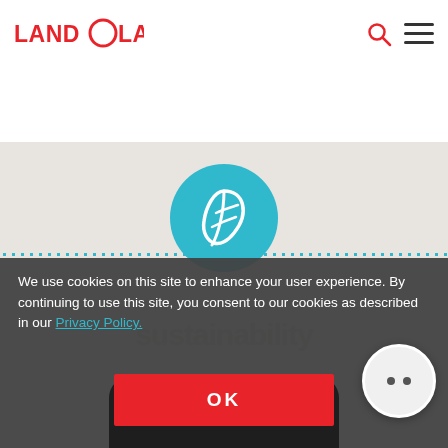[Figure (logo): Land O'Lakes logo with red text and circle O]
[Figure (screenshot): Navigation header with search icon and hamburger menu]
[Figure (illustration): Teal circle with white leaf icon, dotted border separator]
We use cookies on this site to enhance your user experience. By continuing to use this site, you consent to our cookies as described in our Privacy Policy.
[Figure (screenshot): OK button in red, chat widget button in bottom right, cookie consent overlay]
[Figure (photo): Land O'Lakes product butter dish in dark packaging at bottom]